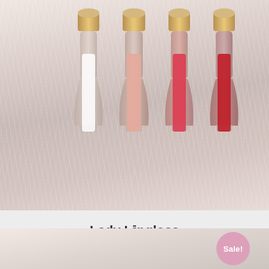[Figure (photo): Four lip gloss tubes with gold caps arranged on a fluffy white/pink fur background. The glosses range in color from clear/white to light pink, coral pink, hot pink/red, and deep red, fanning out slightly.]
Lady Lipgloss
$30.00 $18.00
[Figure (photo): Partial photo of another product (nail-related) on a pink background, partially cropped at the bottom of the page. A pink circular Sale! badge overlays the bottom-right corner.]